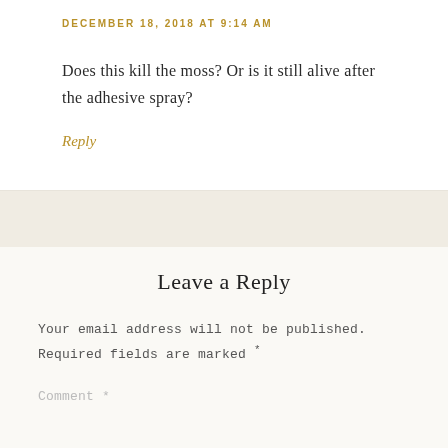DECEMBER 18, 2018 AT 9:14 AM
Does this kill the moss? Or is it still alive after the adhesive spray?
Reply
Leave a Reply
Your email address will not be published. Required fields are marked *
Comment *